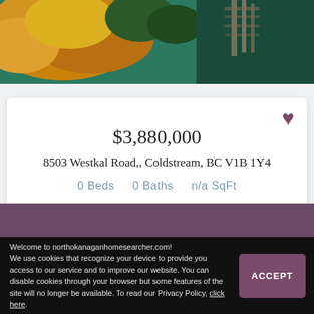[Figure (photo): Aerial photo showing autumn trees with orange/yellow foliage next to a waterway with a dock, viewed from above]
$3,880,000
8503 Westkal Road,, Coldstream, BC V1B 1Y4
0 Beds   0 Baths   n/a SqFt
Listing Provided By Coldwell Banker Four Seasons Real Estate
Welcome to northokanaganhomesearcher.com! We use cookies that recognize your device to provide you access to our service and to improve our website. You can disable cookies through your browser but some features of the site will no longer be available. To read our Privacy Policy, click here.